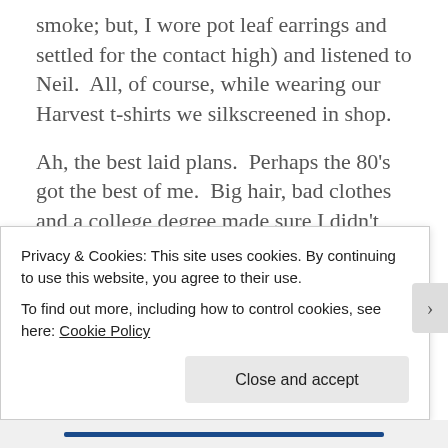smoke; but, I wore pot leaf earrings and settled for the contact high) and listened to Neil.  All, of course, while wearing our Harvest t-shirts we silkscreened in shop.
Ah, the best laid plans.  Perhaps the 80's got the best of me.  Big hair, bad clothes and a college degree made sure I didn't move to California.  Not only did I NOT move West, I moved East and worked for big law firms.  The good news is that by the 90's I had given up the big hair and my wardrobe improved dramatically.  I wore Ally McBeal skirts, made a
Privacy & Cookies: This site uses cookies. By continuing to use this website, you agree to their use.
To find out more, including how to control cookies, see here: Cookie Policy
Close and accept